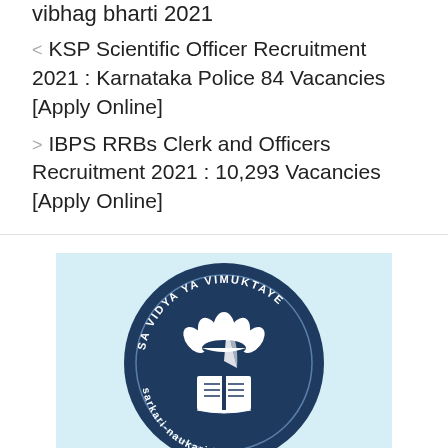vibhag bharti 2021
< KSP Scientific Officer Recruitment 2021 : Karnataka Police 84 Vacancies [Apply Online]
> IBPS RRBs Clerk and Officers Recruitment 2021 : 10,293 Vacancies [Apply Online]
[Figure (logo): Circular dark navy blue logo with text 'SA VIDYA YA VIMUKTAYE' around the top arc and 'sarkari-naukari.info' around the bottom arc. Center features a white lotus flower above an open book with a quill pen. Background of logo container is light blue.]